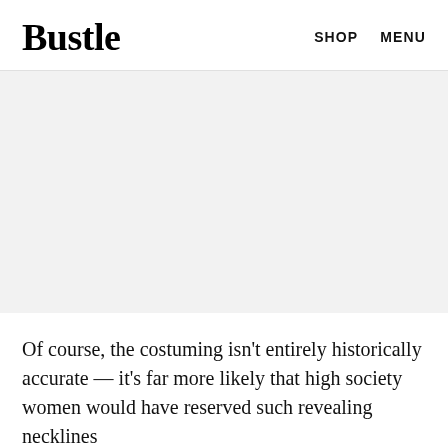Bustle   SHOP   MENU
[Figure (photo): Large image placeholder (light gray background), likely a photo related to historical costuming or fashion]
Of course, the costuming isn't entirely historically accurate — it's far more likely that high society women would have reserved such revealing necklines